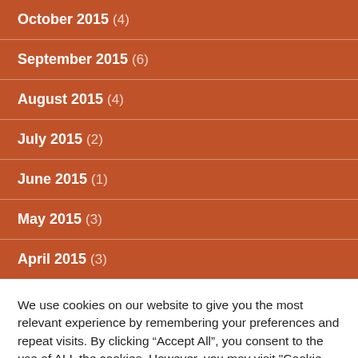October 2015 (4)
September 2015 (6)
August 2015 (4)
July 2015 (2)
June 2015 (1)
May 2015 (3)
April 2015 (3)
We use cookies on our website to give you the most relevant experience by remembering your preferences and repeat visits. By clicking “Accept All”, you consent to the use of ALL the cookies. However, you may visit "Cookie Settings" to provide a controlled consent.
Cookie Settings | Accept All